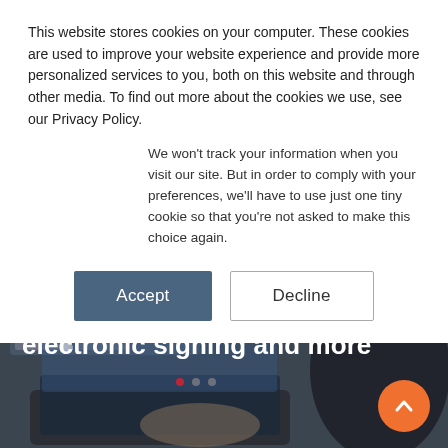This website stores cookies on your computer. These cookies are used to improve your website experience and provide more personalized services to you, both on this website and through other media. To find out more about the cookies we use, see our Privacy Policy.
We won't track your information when you visit our site. But in order to comply with your preferences, we'll have to use just one tiny cookie so that you're not asked to make this choice again.
Accept | Decline
New legislation to allow extension of COVID-19 virtual meetings, electronic signing and more
[Figure (photo): Person using a laptop showing a video conference call with multiple participants, viewed from behind, with dark overlay. Orange scroll-to-top button in bottom right corner.]